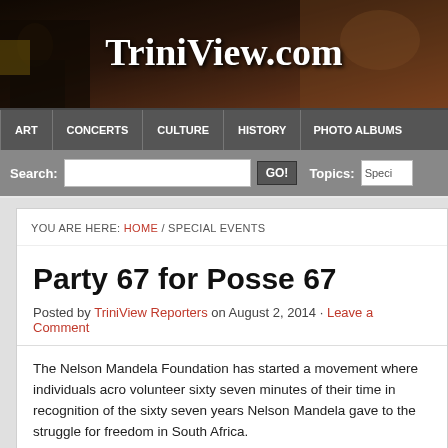[Figure (photo): TriniView.com website header banner with photo collage background showing people at cultural events]
TriniView.com
ART | CONCERTS | CULTURE | HISTORY | PHOTO ALBUMS
Search: [input] GO! Topics: Specia
YOU ARE HERE: HOME / SPECIAL EVENTS
Party 67 for Posse 67
Posted by TriniView Reporters on August 2, 2014 · Leave a Comment
The Nelson Mandela Foundation has started a movement where individuals acro volunteer sixty seven minutes of their time in recognition of the sixty seven years Nelson Mandela gave to the struggle for freedom in South Africa.
FILED UNDER PERSONALITIES, PHOTO ALBUMS, SPECIAL EVENTS · TAGGED W NELSON MANDELA, SOUTH AFRICA